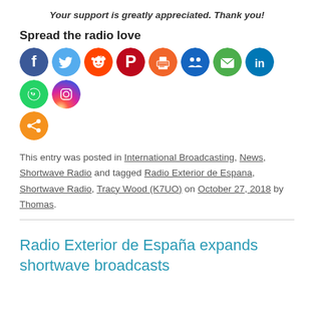Your support is greatly appreciated. Thank you!
Spread the radio love
[Figure (infographic): Row of social media share icons: Facebook, Twitter, Reddit, Pinterest, Print, Friendfeed, Email, LinkedIn, WhatsApp, Instagram, and a generic share button]
This entry was posted in International Broadcasting, News, Shortwave Radio and tagged Radio Exterior de Espana, Shortwave Radio, Tracy Wood (K7UO) on October 27, 2018 by Thomas.
Radio Exterior de España expands shortwave broadcasts